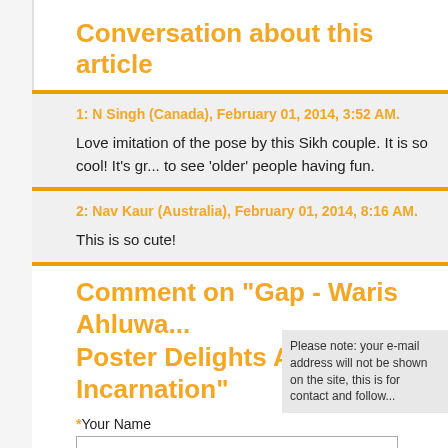Conversation about this article
1: N Singh (Canada), February 01, 2014, 3:52 AM.
Love imitation of the pose by this Sikh couple. It is so cool! It's gr... to see 'older' people having fun.
2: Nav Kaur (Australia), February 01, 2014, 8:16 AM.
This is so cute!
Comment on "Gap - Waris Ahluwa... Poster Delights All in New Incarnation"
*Your Name
*Email
Please note: your e... address will not be... on the site, this is f... contact and follow...